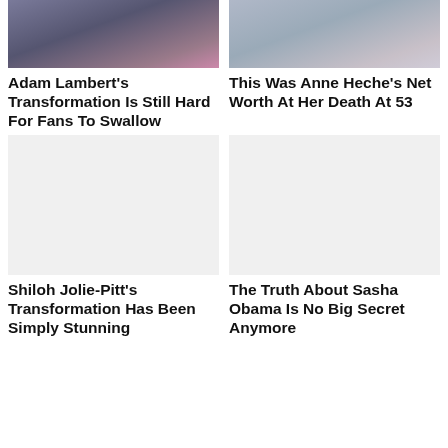[Figure (photo): Photo of Adam Lambert, close-up face with purple/pink background lights]
Adam Lambert's Transformation Is Still Hard For Fans To Swallow
[Figure (photo): Photo of Anne Heche, close-up face with blue/grey background]
This Was Anne Heche's Net Worth At Her Death At 53
[Figure (photo): Image placeholder for Shiloh Jolie-Pitt article (white/blank)]
Shiloh Jolie-Pitt's Transformation Has Been Simply Stunning
[Figure (photo): Image placeholder for Sasha Obama article (white/blank)]
The Truth About Sasha Obama Is No Big Secret Anymore